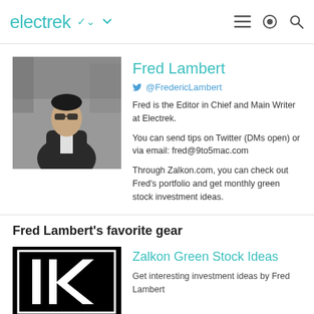electrek
[Figure (photo): Black and white photo of Fred Lambert, a man in a jacket looking upward outdoors]
Fred Lambert
@FredericLambert
Fred is the Editor in Chief and Main Writer at Electrek.
You can send tips on Twitter (DMs open) or via email: fred@9to5mac.com
Through Zalkon.com, you can check out Fred's portfolio and get monthly green stock investment ideas.
Fred Lambert's favorite gear
[Figure (logo): Zalkon logo — black background with white letters 'lK' in a serif/sans style]
Zalkon Green Stock Ideas
Get interesting investment ideas by Fred Lambert